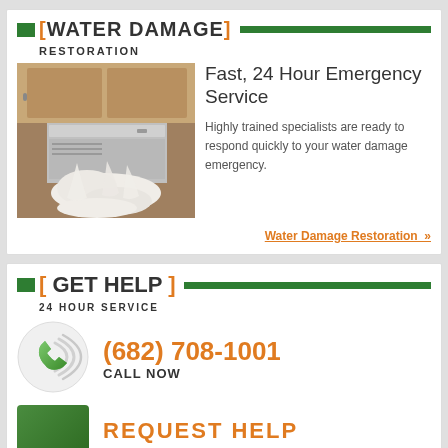[ WATER DAMAGE ] RESTORATION
[Figure (photo): Photo of water flooding out of a dishwasher drawer in a kitchen, with foam and water spilling onto the floor]
Fast, 24 Hour Emergency Service
Highly trained specialists are ready to respond quickly to your water damage emergency.
Water Damage Restoration »
[ GET HELP ] 24 HOUR SERVICE
[Figure (illustration): Green phone handset icon with signal waves, inside a circular badge]
(682) 708-1001
CALL NOW
[Figure (illustration): Green square icon/button]
REQUEST HELP